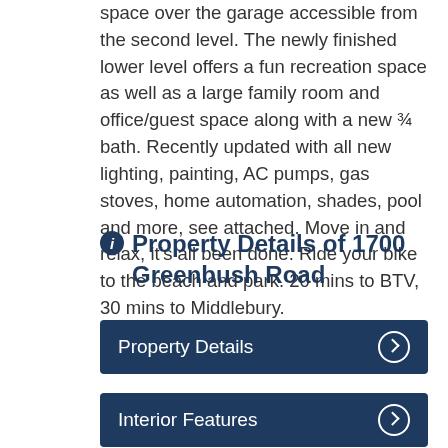space over the garage accessible from the second level. The newly finished lower level offers a fun recreation space as well as a large family room and office/guest space along with a new ¾ bath. Recently updated with all new lighting, painting, AC pumps, gas stoves, home automation, shades, pool and more, see attached. Move in and relax, it's all been done. Ride your bike to the beach and park. 20 mins to BTV, 30 mins to Middlebury.
Property Details of 1700 Greenbush Road
Property Details
Interior Features